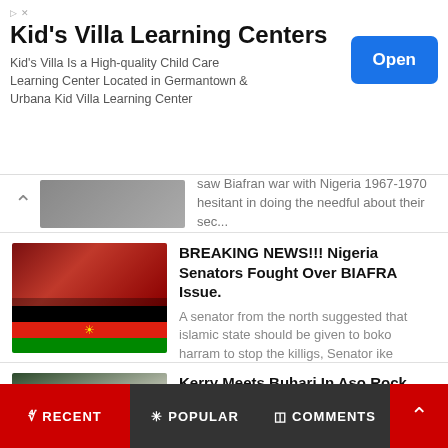[Figure (other): Advertisement banner for Kid's Villa Learning Centers with Open button]
saw Biafran war with Nigeria 1967-1970 hesitant in doing the needful about their sec...
BREAKING NEWS!!! Nigeria Senators Fought Over BIAFRA Issue.
A senator from the north suggested that islamic state should be given to boko harram to stop the killigs, Senator ike ekweremadu s...
Kerry Meets Buhari In Aso Rock, Urged Him To Release Nnamdi Kanu And Let Biafrans Go
The US secretary of state John Kerry visited Nigeria amid heavy economic and political crisis, his visit proves problematic for Buhari in...
RECENT   POPULAR   COMMENTS